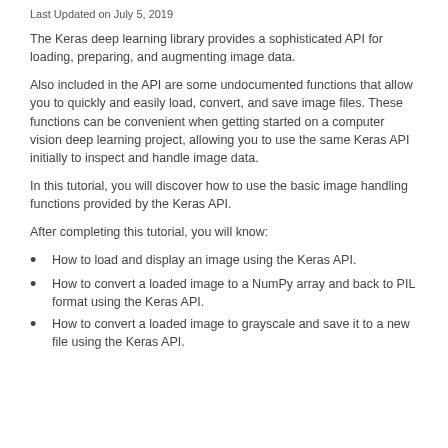Last Updated on July 5, 2019
The Keras deep learning library provides a sophisticated API for loading, preparing, and augmenting image data.
Also included in the API are some undocumented functions that allow you to quickly and easily load, convert, and save image files. These functions can be convenient when getting started on a computer vision deep learning project, allowing you to use the same Keras API initially to inspect and handle image data.
In this tutorial, you will discover how to use the basic image handling functions provided by the Keras API.
After completing this tutorial, you will know:
How to load and display an image using the Keras API.
How to convert a loaded image to a NumPy array and back to PIL format using the Keras API.
How to convert a loaded image to grayscale and save it to a new file using the Keras API.